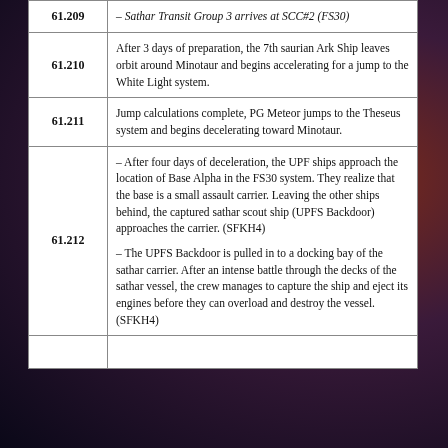| Day | Event |
| --- | --- |
| 61.209 (partial) | – Sathar Transit Group 3 arrives at SCC#2 (FS30) |
| 61.210 | After 3 days of preparation, the 7th saurian Ark Ship leaves orbit around Minotaur and begins accelerating for a jump to the White Light system. |
| 61.211 | Jump calculations complete, PG Meteor jumps to the Theseus system and begins decelerating toward Minotaur. |
| 61.212 | – After four days of deceleration, the UPF ships approach the location of Base Alpha in the FS30 system. They realize that the base is a small assault carrier. Leaving the other ships behind, the captured sathar scout ship (UPFS Backdoor) approaches the carrier. (SFKH4)
– The UPFS Backdoor is pulled in to a docking bay of the sathar carrier. After an intense battle through the decks of the sathar vessel, the crew manages to capture the ship and eject its engines before they can overload and destroy the vessel. (SFKH4) |